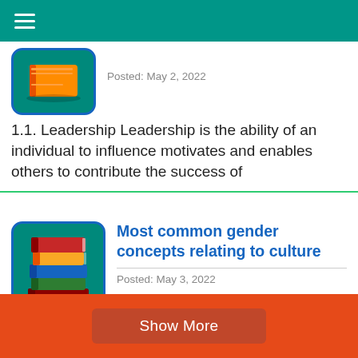Navigation menu
[Figure (illustration): Book thumbnail icon on green background]
Posted: May 2, 2022
1.1. Leadership Leadership is the ability of an individual to influence motivates and enables others to contribute the success of
[Figure (illustration): Stack of colorful books icon on green background]
Most common gender concepts relating to culture
Posted: May 3, 2022
Gender discrimination; It is the situation in which one kind of the sex in the society is denied of its
Show More